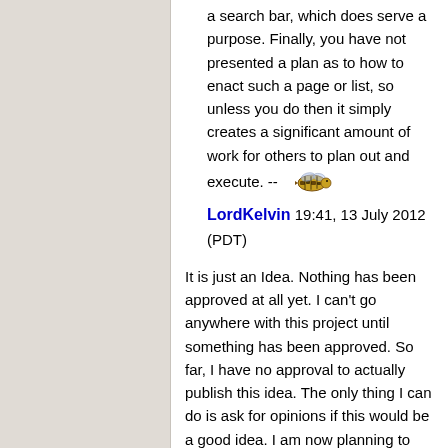a search bar, which does serve a purpose. Finally, you have not presented a plan as to how to enact such a page or list, so unless you do then it simply creates a significant amount of work for others to plan out and execute. -- [bee image] LordKelvin 19:41, 13 July 2012 (PDT)
It is just an Idea. Nothing has been approved at all yet. I can't go anywhere with this project until something has been approved. So far, I have no approval to actually publish this idea. The only thing I can do is ask for opinions if this would be a good idea. I am now planning to make a new model of the T.O.C on my own user discussion page. The picture was just a pre-view of what it would resemble. I've spent over two months in the making of the Table of